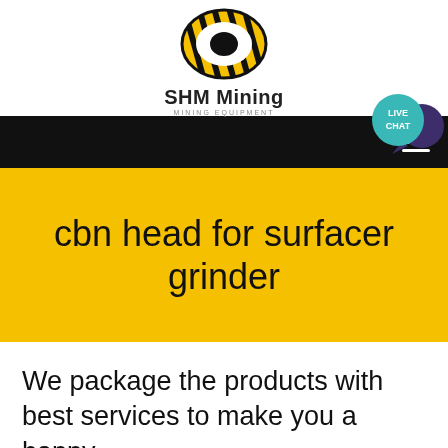[Figure (logo): SHM Mining logo — diagonal striped oval shape in black and yellow, with 'SHM Mining' text and 'MINING EQUIPMENT' subtitle]
[Figure (illustration): Live Chat speech bubble icon — teal/cyan circle with 'LIVE CHAT' text and a dark purple speech bubble behind it]
[Figure (illustration): Navigation bar with black background and white hamburger menu icon (three horizontal lines) on the right]
cbn head for surfacer grinder
We package the products with best services to make you a happy